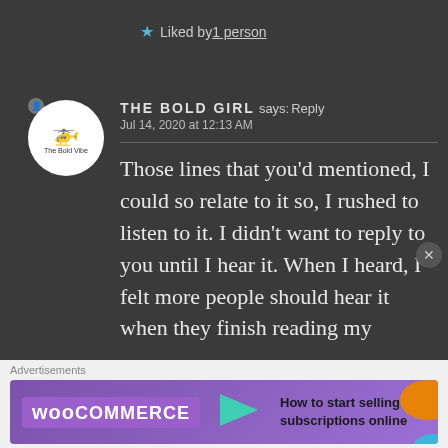★ Liked by 1 person
THE BOLD GIRL says: Reply
Jul 14, 2020 at 12:13 AM
Those lines that you'd mentioned, I could so relate to it so, I rushed to listen to it. I didn't want to reply to you until I hear it. When I heard, I felt more people should hear it when they finish reading my
[Figure (screenshot): WooCommerce advertisement banner: 'How to start selling subscriptions online']